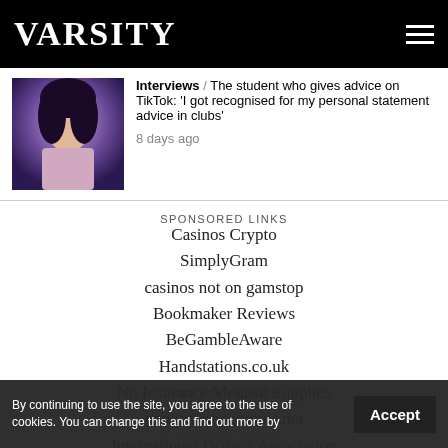VARSITY
Interviews / The student who gives advice on TikTok: 'I got recognised for my personal statement advice in clubs' — 8 days ago
SPONSORED LINKS
Casinos Crypto
SimplyGram
casinos not on gamstop
Bookmaker Reviews
BeGambleAware
Handstations.co.uk
No Insurance Medical Supplies
nongamstopcasinos.net
International Drivers Association
IsAccurate
TheWordPoint
Limo hire
Casino-Wise.com
PARTNER LINKS
AmoMama
Corporate Events
By continuing to use the site, you agree to the use of cookies. You can change this and find out more by